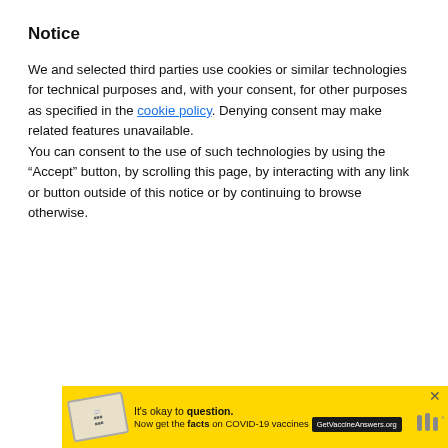Notice
We and selected third parties use cookies or similar technologies for technical purposes and, with your consent, for other purposes as specified in the cookie policy. Denying consent may make related features unavailable.
You can consent to the use of such technologies by using the “Accept” button, by scrolling this page, by interacting with any link or button outside of this notice or by continuing to browse otherwise.
[Figure (other): Reject and Accept buttons (blue rounded rectangles), a Learn more and customize button (grey rounded rectangle), a heart/favorite icon circle (teal), a count badge showing 1, and a share icon circle]
[Figure (other): Yellow advertisement banner: It's okay to question. Now get the facts on COVID-19 vaccines — GetVaccineAnswers.org, with a stamp image and close button]